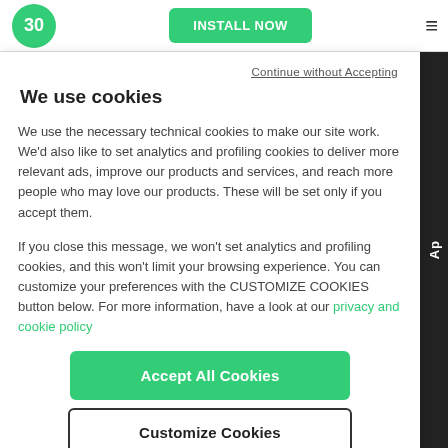[Figure (screenshot): Top navigation bar with green circle logo showing '30', green 'INSTALL NOW' button, and hamburger menu icon]
Continue without Accepting
We use cookies
We use the necessary technical cookies to make our site work. We'd also like to set analytics and profiling cookies to deliver more relevant ads, improve our products and services, and reach more people who may love our products. These will be set only if you accept them.
If you close this message, we won't set analytics and profiling cookies, and this won't limit your browsing experience. You can customize your preferences with the CUSTOMIZE COOKIES button below. For more information, have a look at our privacy and cookie policy
Accept All Cookies
Customize Cookies